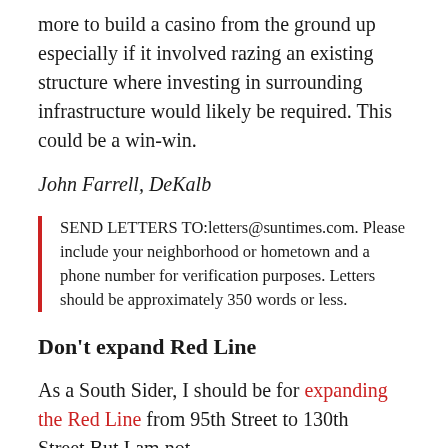more to build a casino from the ground up especially if it involved razing an existing structure where investing in surrounding infrastructure would likely be required. This could be a win-win.
John Farrell, DeKalb
SEND LETTERS TO:letters@suntimes.com. Please include your neighborhood or hometown and a phone number for verification purposes. Letters should be approximately 350 words or less.
Don't expand Red Line
As a South Sider, I should be for expanding the Red Line from 95th Street to 130th Street.But I am not.